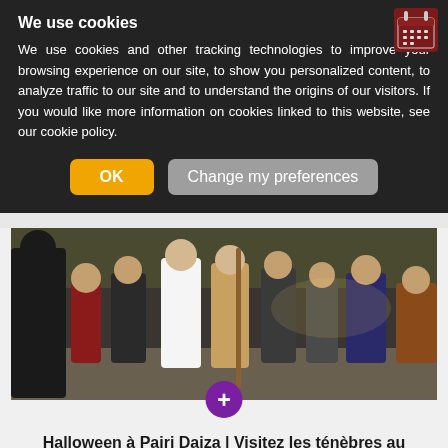We use cookies
We use cookies and other tracking technologies to improve your browsing experience on our site, to show you personalized content, to analyze traffic to our site and to understand the origins of our visitors. If you would like more information on cookies linked to this website, see our cookie policy.
[Figure (screenshot): Cookie consent dialog with OK button (orange) and Change my preferences button (grey)]
[Figure (photo): Children and adults in Halloween costumes walking in a park, Pairi Daiza Halloween event]
Halloween à Pairi Daiza | Visitez les ténèbres au Jardin des Mondes
Du 21 Oct 2022 au 13 Nov 2022